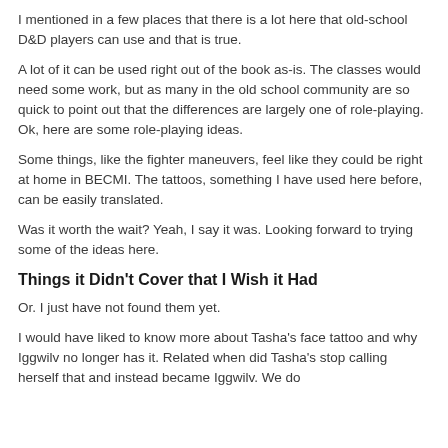I mentioned in a few places that there is a lot here that old-school D&D players can use and that is true.
A lot of it can be used right out of the book as-is.  The classes would need some work, but as many in the old school community are so quick to point out that the differences are largely one of role-playing. Ok, here are some role-playing ideas.
Some things, like the fighter maneuvers, feel like they could be right at home in BECMI.  The tattoos, something I have used here before, can be easily translated.
Was it worth the wait? Yeah, I say it was.  Looking forward to trying some of the ideas here.
Things it Didn't Cover that I Wish it Had
Or. I just have not found them yet.
I would have liked to know more about Tasha's face tattoo and why Iggwilv no longer has it.  Related when did Tasha's stop calling herself that and instead became Iggwilv. We do